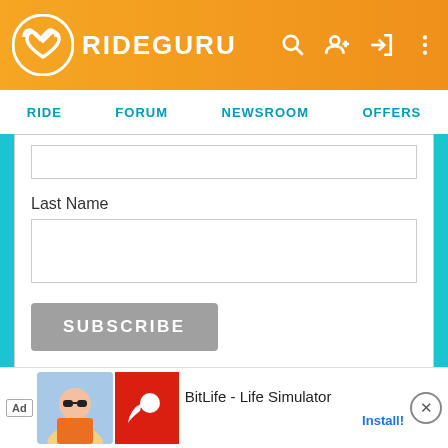RIDEGURU
RIDE  FORUM  NEWSROOM  OFFERS
Last Name
SUBSCRIBE
↑ Back to top
Ridehail/Rideshare Companies Supported by
[Figure (screenshot): Ad banner for BitLife - Life Simulator with install button]